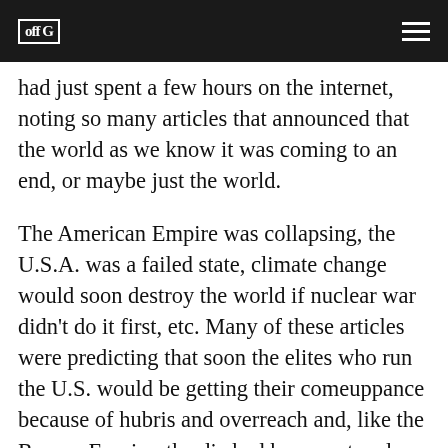off G [logo] [hamburger menu]
had just spent a few hours on the internet, noting so many articles that announced that the world as we know it was coming to an end, or maybe just the world.
The American Empire was collapsing, the U.S.A. was a failed state, climate change would soon destroy the world if nuclear war didn’t do it first, etc. Many of these articles were predicting that soon the elites who run the U.S. would be getting their comeuppance because of hubris and overreach and, like the Roman Empire, the die had been cast and disaster was on the